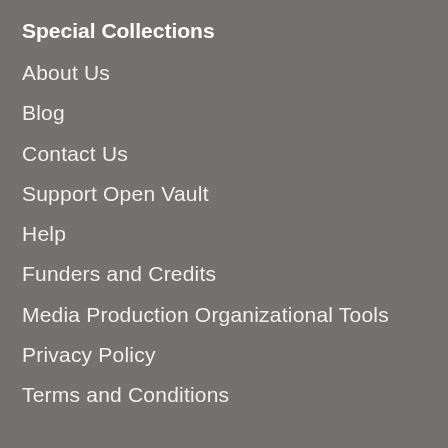Special Collections
About Us
Blog
Contact Us
Support Open Vault
Help
Funders and Credits
Media Production Organizational Tools
Privacy Policy
Terms and Conditions